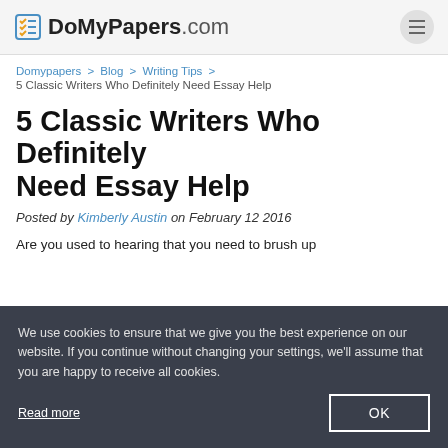DoMyPapers.com
Domypapers > Blog > Writing Tips > 5 Classic Writers Who Definitely Need Essay Help
5 Classic Writers Who Definitely Need Essay Help
Posted by Kimberly Austin on February 12 2016
Are you used to hearing that you need to brush up...a look at some of them.
We use cookies to ensure that we give you the best experience on our website. If you continue without changing your settings, we'll assume that you are happy to receive all cookies.
Read more    OK